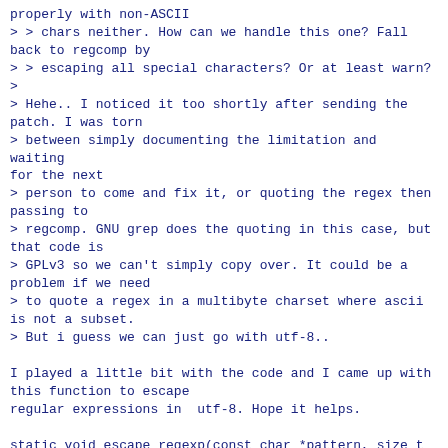properly with non-ASCII
> > chars neither. How can we handle this one? Fall back to regcomp by
> > escaping all special characters? Or at least warn?
>
> Hehe.. I noticed it too shortly after sending the patch. I was torn
> between simply documenting the limitation and waiting for the next
> person to come and fix it, or quoting the regex then passing to
> regcomp. GNU grep does the quoting in this case, but that code is
> GPLv3 so we can't simply copy over. It could be a problem if we need
> to quote a regex in a multibyte charset where ascii is not a subset.
> But i guess we can just go with utf-8..

I played a little bit with the code and I came up with this function to escape
regular expressions in  utf-8. Hope it helps.

static void escape_regexp(const char *pattern, size_t len,
                char **new_pattern, size_t *new_len)
{
        const char *p = pattern;
        char *np = *new_pattern = xmalloc(2 * len);
        int chrlen;